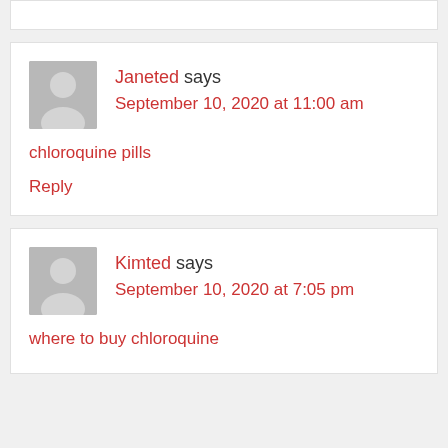Janeted says September 10, 2020 at 11:00 am
chloroquine pills
Reply
Kimted says September 10, 2020 at 7:05 pm
where to buy chloroquine